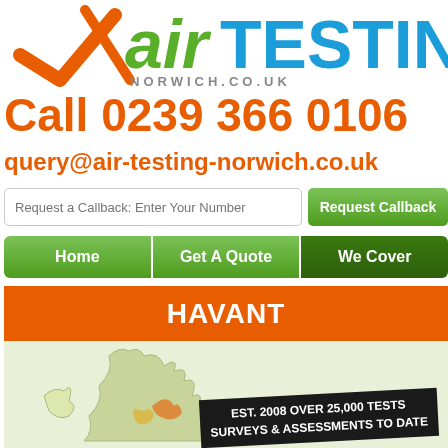[Figure (logo): Air Testing Norwich logo with orange tick/checkmark, green 'air' text, blue 'TESTING' text, and 'NORWICH.CO.UK' subtitle]
Call 0239 366 0106
query@air-testing-norwich.co.uk
Request a Callback: Enter Your Number | Request Callback
Home
Get A Quote
We Cover
HAVANT
[Figure (map): Map of the United Kingdom highlighted in orange/tan]
EST. 2008 OVER 25,000 TESTS SURVEYS & ASSESSMENTS TO DATE